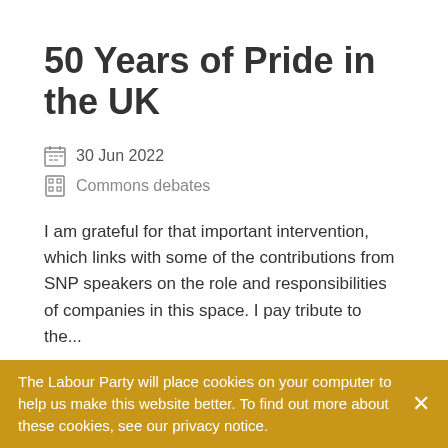50 Years of Pride in the UK
30 Jun 2022
Commons debates
I am grateful for that important intervention, which links with some of the contributions from SNP speakers on the role and responsibilities of companies in this space. I pay tribute to the...
Read more →
The Labour Party will place cookies on your computer to help us make this website better. To find out more about these cookies, see our privacy notice.